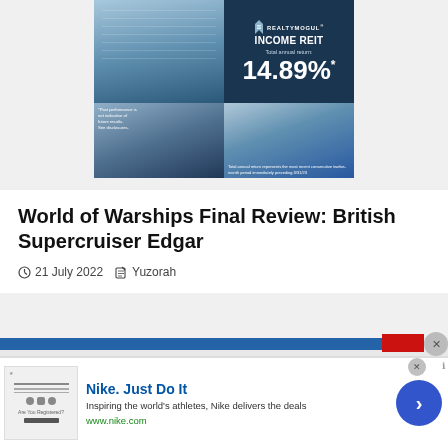[Figure (photo): RealtyMogul Income REIT advertisement showing modern glass skyscrapers. Top portion shows tall blue glass building with RealtyMogul logo and '14.89%*' total annual return. Bottom left shows another modern building with disclaimer '*Past performance is not indicative of future results. See disclosures.' Bottom right shows twin glass towers with text 'Total annual return represents the most recent consecutive twelve-month period immediately preceding 3/31/23'.]
World of Warships Final Review: British Supercruiser Edgar
21 July 2022   Yuzorah
[Figure (photo): Nike advertisement banner. Shows Nike branding image on left, 'Nike. Just Do It' headline in blue, 'Inspiring the world's athletes, Nike delivers the deals' tagline, 'www.nike.com' URL in green, and a blue circle arrow button on right.]